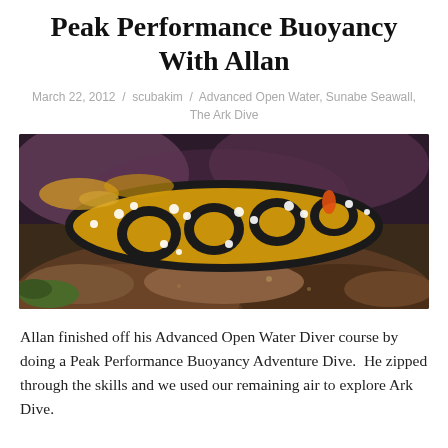Peak Performance Buoyancy With Allan
March 22, 2012  /  scubakim  /  Advanced Open Water, Sunabe Seawall, The Ark Dive
[Figure (photo): Close-up underwater photo of a yellow and black spotted nudibranch (sea slug) with white bumps on a rocky reef surface. The creature has distinctive dark circular patterns on a golden-yellow body.]
Allan finished off his Advanced Open Water Diver course by doing a Peak Performance Buoyancy Adventure Dive.  He zipped through the skills and we used our remaining air to explore Ark Dive.